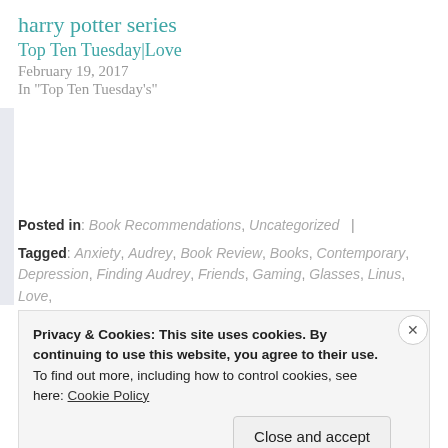harry potter series
Top Ten Tuesday|Love
February 19, 2017
In “Top Ten Tuesday’s”
Posted in: Book Recommendations, Uncategorized |
Tagged: Anxiety, Audrey, Book Review, Books, Contemporary, Depression, Finding Audrey, Friends, Gaming, Glasses, Linus, Love, Mystery, Reading, Real Life Problems, Shy, Social, Sophie Kinsella, Suspense, Young Adult
Privacy & Cookies: This site uses cookies. By continuing to use this website, you agree to their use.
To find out more, including how to control cookies, see here: Cookie Policy
Close and accept